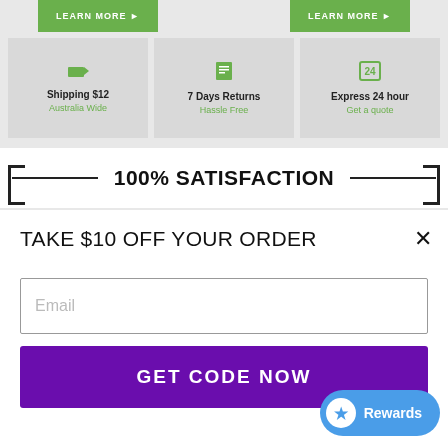[Figure (screenshot): Top portion of an e-commerce website showing two green 'LEARN MORE' buttons, three info boxes (Shipping $12 Australia Wide, 7 Days Returns Hassle Free, Express 24 hour Get a quote), and a 100% SATISFACTION banner with bracket decorations]
TAKE $10 OFF YOUR ORDER  ✕
Email
GET CODE NOW
Rewards